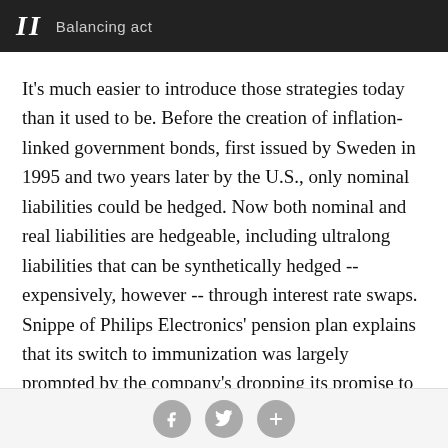II  Balancing act
It's much easier to introduce those strategies today than it used to be. Before the creation of inflation-linked government bonds, first issued by Sweden in 1995 and two years later by the U.S., only nominal liabilities could be hedged. Now both nominal and real liabilities are hedgeable, including ultralong liabilities that can be synthetically hedged -- expensively, however -- through interest rate swaps. Snippe of Philips Electronics' pension plan explains that its switch to immunization was largely prompted by the company's dropping its promise to index pensioners' payments to the cost of living. Since nominal liabilities are readily hedgeable
[social share buttons: Facebook, Twitter, Plus]